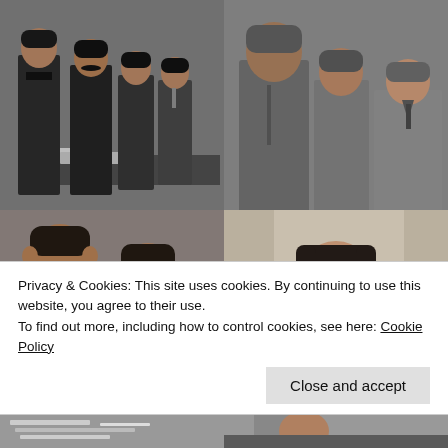[Figure (photo): Top-left: Black and white photo of four men in dark military/civilian suits standing together, possibly Soviet officials]
[Figure (photo): Top-right: Black and white photo of three men in military/civilian clothing, grainy texture]
[Figure (photo): Middle-left: Sepia/grayscale photo of two men in military tunics standing together]
[Figure (photo): Middle-right: Colorized portrait painting of a man in military tunic with dark hair and mustache]
Privacy & Cookies: This site uses cookies. By continuing to use this website, you agree to their use.
To find out more, including how to control cookies, see here: Cookie Policy
Close and accept
[Figure (photo): Bottom-left: Partial view of papers/documents]
[Figure (photo): Bottom-right: Partial view of a person's hand]